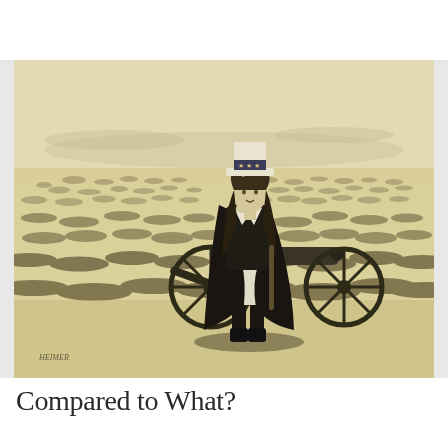[Figure (illustration): A vintage black-and-white editorial illustration on sepia/cream background showing a woman dressed in patriotic American attire (Uncle Sam-style top hat with stars, black cape, ammunition belt) standing next to a cannon on a wide flat field. The field behind her is filled with rows of fallen soldiers or markers extending to the horizon. The illustration is signed in the lower left. Art style suggests late 19th century engraving.]
Compared to What?